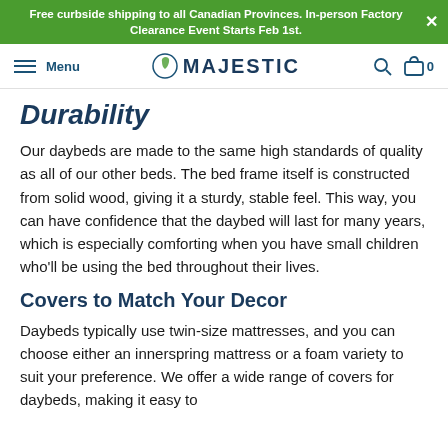Free curbside shipping to all Canadian Provinces. In-person Factory Clearance Event Starts Feb 1st.
Menu | MAJESTIC | search | cart 0
Durability
Our daybeds are made to the same high standards of quality as all of our other beds. The bed frame itself is constructed from solid wood, giving it a sturdy, stable feel. This way, you can have confidence that the daybed will last for many years, which is especially comforting when you have small children who'll be using the bed throughout their lives.
Covers to Match Your Decor
Daybeds typically use twin-size mattresses, and you can choose either an innerspring mattress or a foam variety to suit your preference. We offer a wide range of covers for daybeds, making it easy to